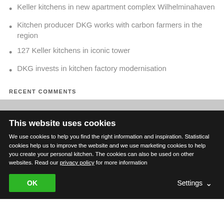Keller kitchens in new apartment complex Wilhelminahaven
Kitchen producer DKG works with carbon farmers in the region
127 Keller kitchens in iconic tower
DKG invests in kitchen factory modernisation
RECENT COMMENTS
This website uses cookies
We use cookies to help you find the right information and inspiration. Statistical cookies help us to improve the website and we use marketing cookies to help you create your personal kitchen. The cookies can also be used on other websites. Read our privacy policy for more information